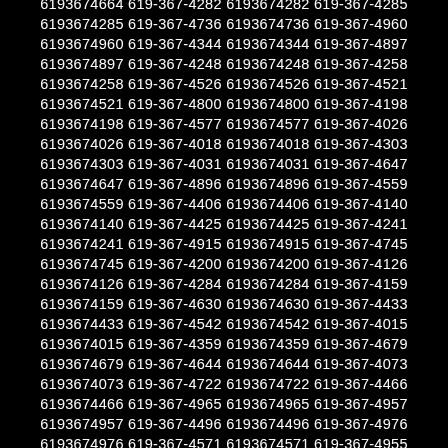6193674272 619-367-4314 6193674314 619-367-4664 6193674664 619-367-4282 6193674282 619-367-4285 6193674285 619-367-4736 6193674736 619-367-4960 6193674960 619-367-4344 6193674344 619-367-4897 6193674897 619-367-4248 6193674248 619-367-4258 6193674258 619-367-4526 6193674526 619-367-4521 6193674521 619-367-4800 6193674800 619-367-4198 6193674198 619-367-4577 6193674577 619-367-4026 6193674026 619-367-4018 6193674018 619-367-4303 6193674303 619-367-4031 6193674031 619-367-4647 6193674647 619-367-4896 6193674896 619-367-4559 6193674559 619-367-4406 6193674406 619-367-4140 6193674140 619-367-4425 6193674425 619-367-4241 6193674241 619-367-4915 6193674915 619-367-4745 6193674745 619-367-4200 6193674200 619-367-4126 6193674126 619-367-4284 6193674284 619-367-4159 6193674159 619-367-4630 6193674630 619-367-4433 6193674433 619-367-4542 6193674542 619-367-4015 6193674015 619-367-4359 6193674359 619-367-4679 6193674679 619-367-4644 6193674644 619-367-4073 6193674073 619-367-4722 6193674722 619-367-4466 6193674466 619-367-4965 6193674965 619-367-4957 6193674957 619-367-4496 6193674496 619-367-4976 6193674976 619-367-4571 6193674571 619-367-4955 6193674955 619-367-4613 6193674613 619-367-4945